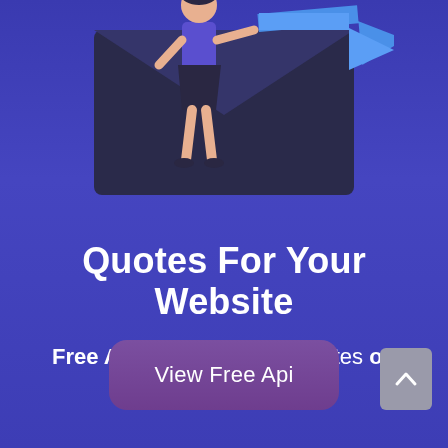[Figure (illustration): Illustration of a person pushing a large envelope with a blue arrow, on a dark background, upper portion of the image visible at top of page.]
Quotes For Your Website
Free API to display daily quotes on your website.
View Free Api
[Figure (other): Gray scroll-to-top button with upward chevron arrow, bottom right corner.]